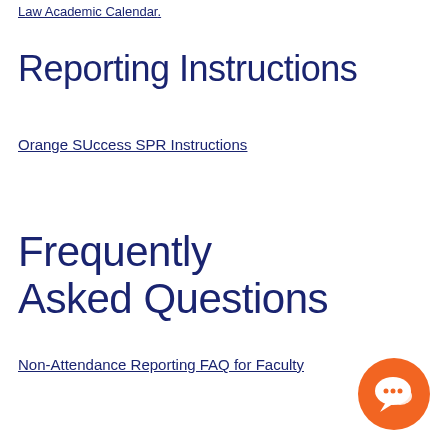Law Academic Calendar.
Reporting Instructions
Orange SUccess SPR Instructions
Frequently Asked Questions
Non-Attendance Reporting FAQ for Faculty
[Figure (illustration): Orange circular chat/messaging button icon in the bottom right corner]